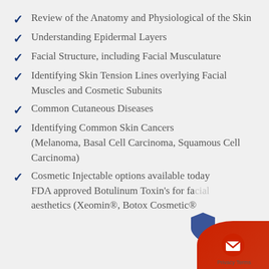Review of the Anatomy and Physiological of the Skin
Understanding Epidermal Layers
Facial Structure, including Facial Musculature
Identifying Skin Tension Lines overlying Facial Muscles and Cosmetic Subunits
Common Cutaneous Diseases
Identifying Common Skin Cancers (Melanoma, Basal Cell Carcinoma, Squamous Cell Carcinoma)
Cosmetic Injectable options available today FDA approved Botulinum Toxin's for facial aesthetics (Xeomin®, Botox Cosmetic®